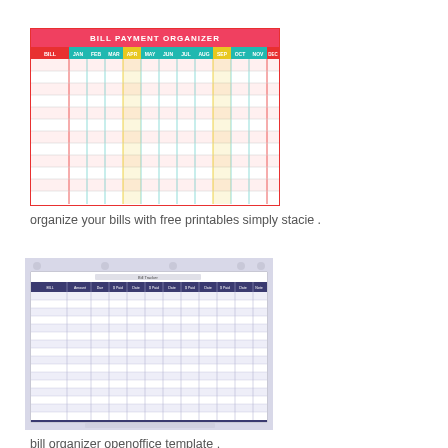[Figure (table-as-image): Bill Payment Organizer colorful spreadsheet with months JAN through DEC as column headers and BILL column, rows with cyan/yellow/red color coding]
organize your bills with free printables simply stacie .
[Figure (table-as-image): Bill organizer OpenOffice template spreadsheet with purple/blue header row and multiple columns for tracking bill payments]
bill organizer openoffice template .
free printable bill and payment organizer clean mama .